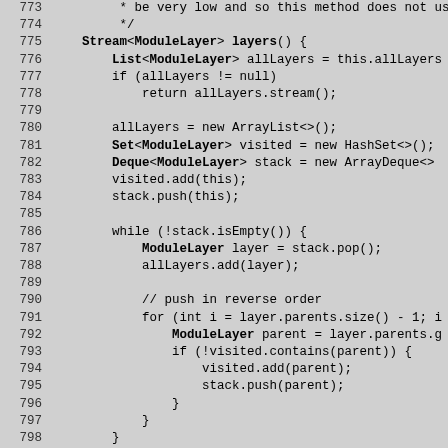Source code listing, lines 773-802, Java method showing stream/layers traversal with stack and visited set